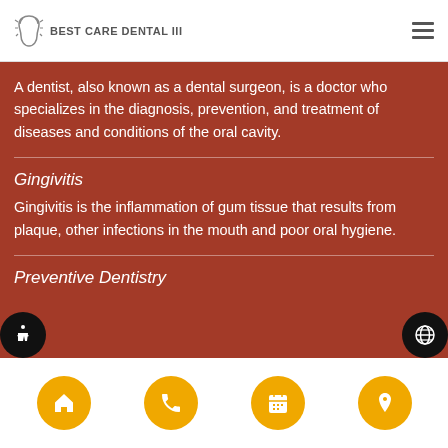BEST CARE DENTAL III
A dentist, also known as a dental surgeon, is a doctor who specializes in the diagnosis, prevention, and treatment of diseases and conditions of the oral cavity.
Gingivitis
Gingivitis is the inflammation of gum tissue that results from plaque, other infections in the mouth and poor oral hygiene.
Preventive Dentistry